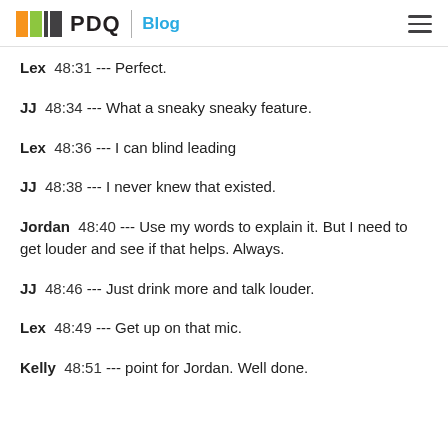PDQ Blog
Lex 48:31 --- Perfect.
JJ 48:34 --- What a sneaky sneaky feature.
Lex 48:36 --- I can blind leading
JJ 48:38 --- I never knew that existed.
Jordan 48:40 --- Use my words to explain it. But I need to get louder and see if that helps. Always.
JJ 48:46 --- Just drink more and talk louder.
Lex 48:49 --- Get up on that mic.
Kelly 48:51 --- point for Jordan. Well done.